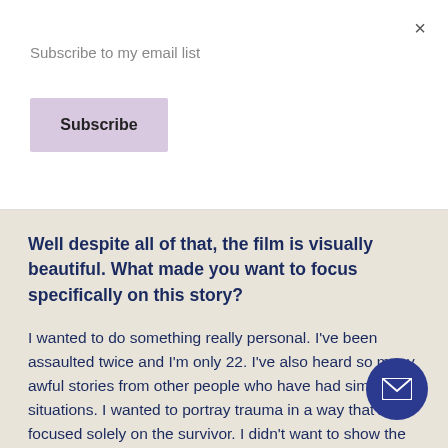×
Subscribe to my email list
Subscribe
Well despite all of that, the film is visually beautiful. What made you want to focus specifically on this story?
I wanted to do something really personal. I've been assaulted twice and I'm only 22. I've also heard so many awful stories from other people who have had similar situations. I wanted to portray trauma in a way that's focused solely on the survivor. I didn't want to show the assaulter's face or have any kind of on him. You can't just get over something like t one day; it's a lifelong process of healing. But I